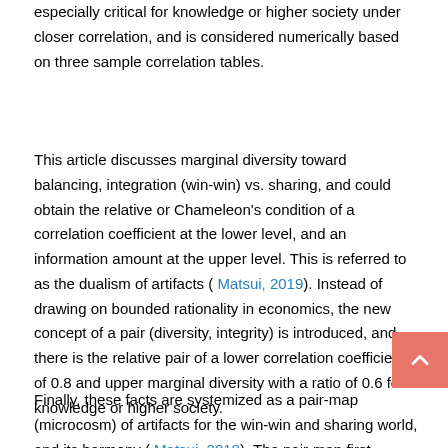especially critical for knowledge or higher society under closer correlation, and is considered numerically based on three sample correlation tables.
This article discusses marginal diversity toward balancing, integration (win-win) vs. sharing, and could obtain the relative or Chameleon's condition of a correlation coefficient at the lower level, and an information amount at the upper level. This is referred to as the dualism of artifacts ( Matsui, 2019). Instead of drawing on bounded rationality in economics, the new concept of a pair (diversity, integrity) is introduced, and there is the relative pair of a lower correlation coefficient of 0.8 and upper marginal diversity with a ratio of 0.6 for knowledge or higher society.
Finally, these facts are systemized as a pair-map (microcosm) of artifacts for the win-win and sharing world, and its harmony ( Matsui, 2018). The pair-map first originated in 1983 ( Matsui, 1983